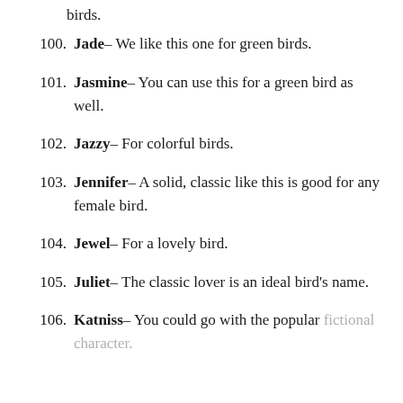birds.
100. Jade– We like this one for green birds.
101. Jasmine– You can use this for a green bird as well.
102. Jazzy– For colorful birds.
103. Jennifer– A solid, classic like this is good for any female bird.
104. Jewel– For a lovely bird.
105. Juliet– The classic lover is an ideal bird's name.
106. Katniss– You could go with the popular fictional character.